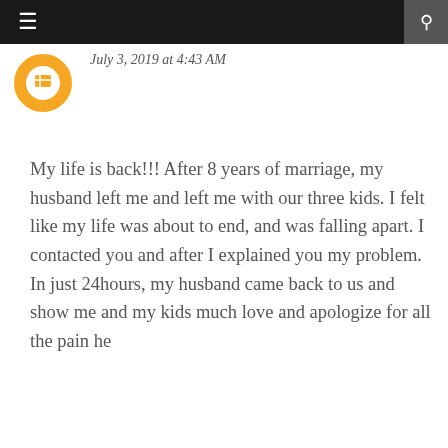≡  🔍
[Figure (logo): Orange circular avatar icon with white circle inside]
July 3, 2019 at 4:43 AM
My life is back!!! After 8 years of marriage, my husband left me and left me with our three kids. I felt like my life was about to end, and was falling apart. I contacted you and after I explained you my problem. In just 24hours, my husband came back to us and show me and my kids much love and apologize for all the pain he